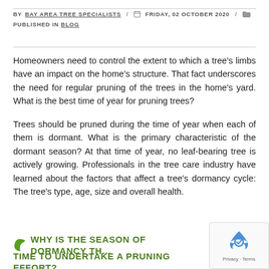BY BAY AREA TREE SPECIALISTS / FRIDAY, 02 OCTOBER 2020 / PUBLISHED IN BLOG
Homeowners need to control the extent to which a tree’s limbs have an impact on the home’s structure. That fact underscores the need for regular pruning of the trees in the home’s yard. What is the best time of year for pruning trees?
Trees should be pruned during the time of year when each of them is dormant. What is the primary characteristic of the dormant season? At that time of year, no leaf-bearing tree is actively growing. Professionals in the tree care industry have learned about the factors that affect a tree’s dormancy cycle: The tree’s type, age, size and overall health.
WHY IS THE SEASON OF DORMANCY THE TIME TO UNDERTAKE A PRUNING EFFORT?